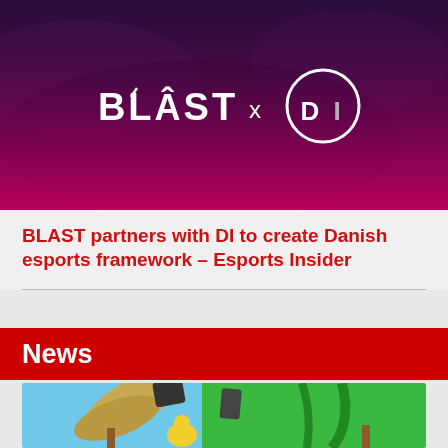[Figure (photo): BLAST x DI esports partnership promotional image with purple/magenta gradient overlay showing crowd background, white BLAST logo text and DI circular logo]
BLAST partners with DI to create Danish esports framework – Esports Insider
News
[Figure (photo): Colorful cartoon/game screenshot showing animated characters with green and blue background, appears to be from a mobile or casual game]